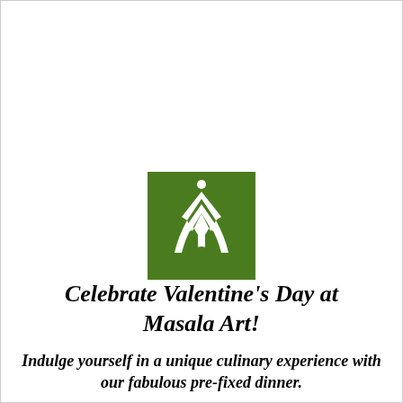[Figure (logo): Green square logo with white stylized figure/chevron symbol resembling the letter A with decorative elements, representing Masala Art restaurant brand]
Celebrate Valentine's Day at Masala Art!
Indulge yourself in a unique culinary experience with our fabulous pre-fixed dinner.